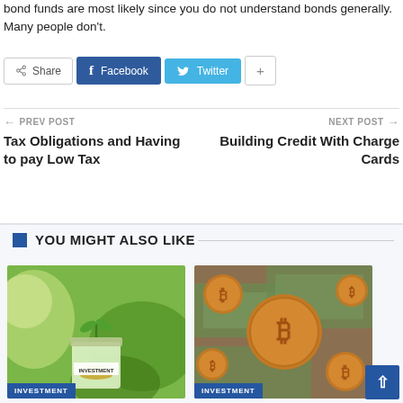bond funds are most likely since you do not understand bonds generally. Many people don't.
[Figure (other): Social share bar with Share, Facebook, Twitter, and plus buttons]
← PREV POST
Tax Obligations and Having to pay Low Tax
NEXT POST →
Building Credit With Charge Cards
YOU MIGHT ALSO LIKE
[Figure (photo): Photo of a glass jar with coins and a plant sprout labeled INVESTMENT]
[Figure (photo): Photo of multiple Bitcoin coins on US dollar bills labeled INVESTMENT]